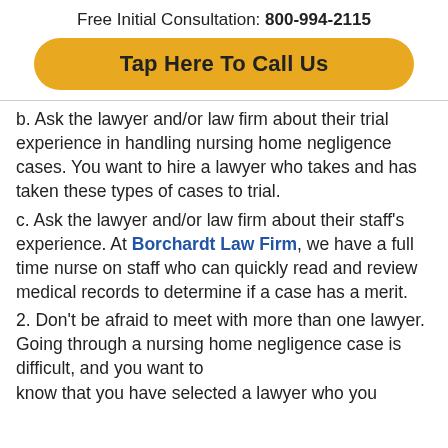Free Initial Consultation: 800-994-2115
Tap Here To Call Us
b. Ask the lawyer and/or law firm about their trial experience in handling nursing home negligence cases. You want to hire a lawyer who takes and has taken these types of cases to trial.
c. Ask the lawyer and/or law firm about their staff's experience. At Borchardt Law Firm, we have a full time nurse on staff who can quickly read and review medical records to determine if a case has a merit.
2. Don't be afraid to meet with more than one lawyer. Going through a nursing home negligence case is difficult, and you want to know that you have selected a lawyer who you...